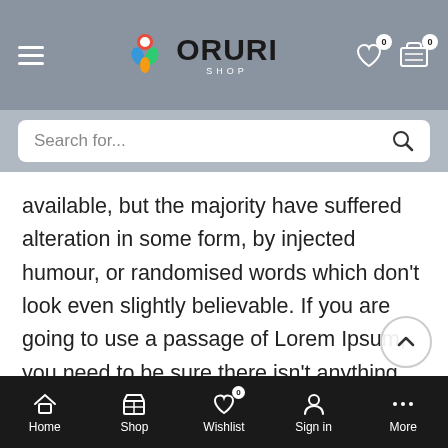[Figure (screenshot): Oruri Shop mobile app header with hamburger menu, colorful logo, and cart/wishlist icons with 0 badge counts]
[Figure (screenshot): Search bar with placeholder text 'Search for...' and search icon]
available, but the majority have suffered alteration in some form, by injected humour, or randomised words which don't look even slightly believable. If you are going to use a passage of Lorem Ipsum, you need to be sure there isn't anything embarrassing hidden in the middle of text. All the Lorem Ipsum generators on the Internet tend to repeat predefined chunks as necessary, making this the first true generator on the Internet. It uses a dictionary of over 200 Latin words, combined with a handful of model sentence structures, to generate Lorem Ipsum which looks
Home  Shop  Wishlist  Sign in  More